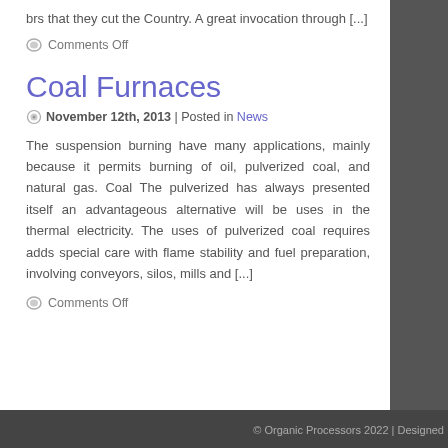brs that they cut the Country. A great invocation through [...]
Comments Off
Coal Furnaces
November 12th, 2013 | Posted in News
The suspension burning have many applications, mainly because it permits burning of oil, pulverized coal, and natural gas. Coal The pulverized has always presented itself an advantageous alternative will be uses in the thermal electricity. The uses of pulverized coal requires adds special care with flame stability and fuel preparation, involving conveyors, silos, mills and [...]
Comments Off
© Organic Processors 2022 | Designed